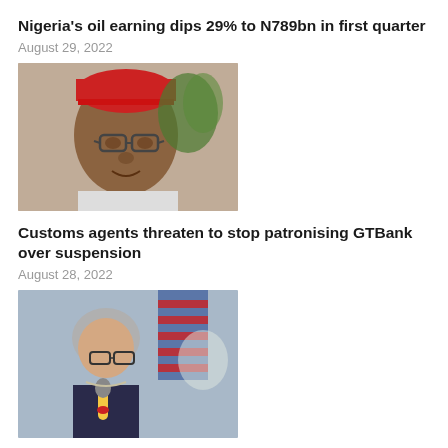[Figure (photo): Top image bar / partial photo strip at very top of page]
Nigeria's oil earning dips 29% to N789bn in first quarter
August 29, 2022
[Figure (photo): Close-up photo of a man wearing glasses and a red cap, outdoors]
Customs agents threaten to stop patronising GTBank over suspension
August 28, 2022
[Figure (photo): Photo of a woman with grey hair holding a microphone at a press conference, with an American flag in background]
'U.S. to return $23m looted by late dictator Abacha to Nigeria'